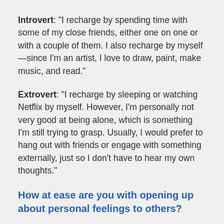Introvert: "I recharge by spending time with some of my close friends, either one on one or with a couple of them. I also recharge by myself—since I'm an artist, I love to draw, paint, make music, and read."
Extrovert: "I recharge by sleeping or watching Netflix by myself. However, I'm personally not very good at being alone, which is something I'm still trying to grasp. Usually, I would prefer to hang out with friends or engage with something externally, just so I don't have to hear my own thoughts."
How at ease are you with opening up about personal feelings to others?